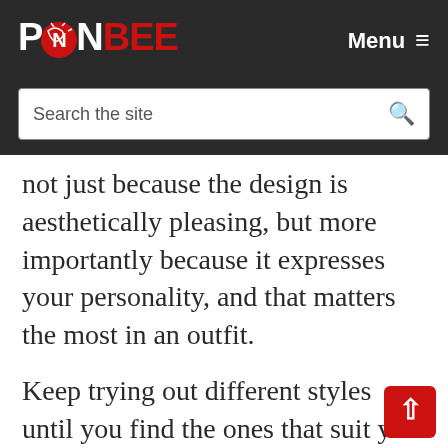PONBEE — Menu
not just because the design is aesthetically pleasing, but more importantly because it expresses your personality, and that matters the most in an outfit.
Keep trying out different styles until you find the ones that suit you best. You don't even have to settle on a limited number. You might prefer elegant chic for a night out at a bar, but you would go to work in a semi-formal style in a